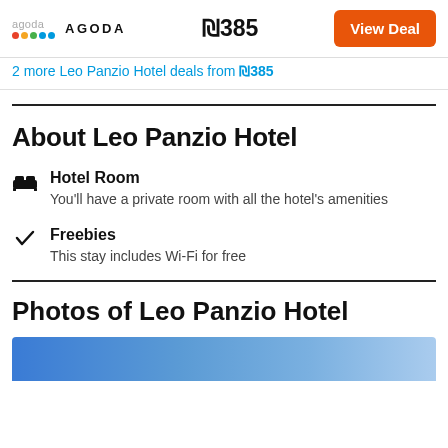AGODA ₪385 View Deal
2 more Leo Panzio Hotel deals from ₪385
About Leo Panzio Hotel
Hotel Room
You'll have a private room with all the hotel's amenities
Freebies
This stay includes Wi-Fi for free
Photos of Leo Panzio Hotel